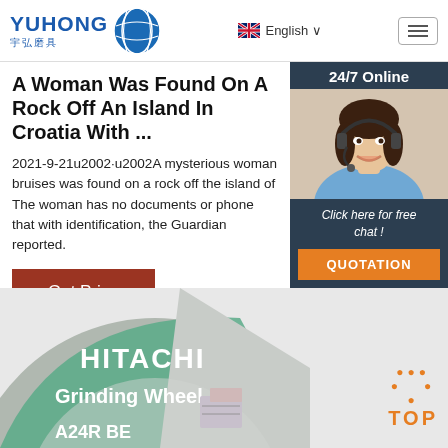YUHONG 宇弘磨具 | English
A Woman Was Found On A Rock Off An Island In Croatia With ...
2021-9-21u2002·u2002A mysterious woman bruises was found on a rock off the island of The woman has no documents or phone that with identification, the Guardian reported.
[Figure (screenshot): Chat widget sidebar with '24/7 Online' header, woman with headset photo, 'Click here for free chat!' text, and QUOTATION button]
[Figure (photo): Grinding wheel labeled HITACHI Grinding Wheel A24R BE]